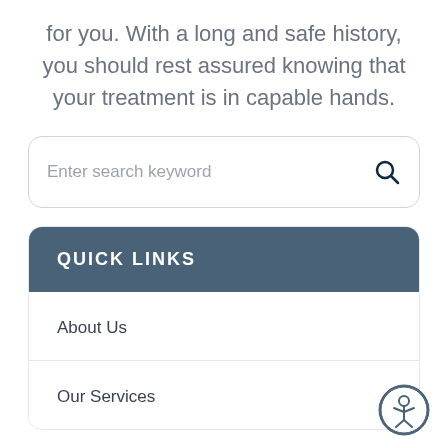for you. With a long and safe history, you should rest assured knowing that your treatment is in capable hands.
[Figure (screenshot): Search bar with placeholder text 'Enter search keyword' and a search icon (magnifying glass) on the right]
QUICK LINKS
About Us
Our Services